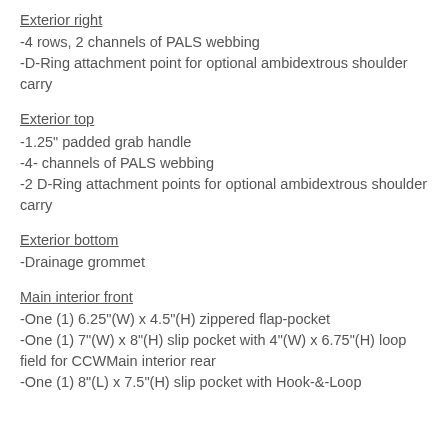Exterior right
-4 rows, 2 channels of PALS webbing
-D-Ring attachment point for optional ambidextrous shoulder carry
Exterior top
-1.25" padded grab handle
-4- channels of PALS webbing
-2 D-Ring attachment points for optional ambidextrous shoulder carry
Exterior bottom
-Drainage grommet
Main interior front
-One (1) 6.25"(W) x 4.5"(H) zippered flap-pocket
-One (1) 7"(W) x 8"(H) slip pocket with 4"(W) x 6.75"(H) loop field for CCWMain interior rear
-One (1) 8"(L) x 7.5"(H) slip pocket with Hook-&-Loop